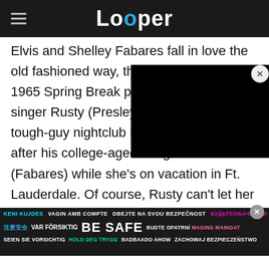Looper
Elvis and Shelley Fabares fall in love the old fashioned way, though need... 1965 Spring Break picture "... singer Rusty (Presley) and h... tough-guy nightclub boss (H... after his college-aged daughter Valerie (Fabares) while she's on vacation in Ft. Lauderdale. Of course, Rusty can't let her know that he's being paid by her father, even as she catches feelings for him and he begins to respond in kind. Will she respond in an
[Figure (screenshot): Black video overlay rectangle covering part of the article text]
KENI KUJDES VAGIN AMB COMPTE DBEJTE NA SVOU BEZPEČNOST БУДЬТЕОБАЧНИМИ 注意安全 VAR FÖRSIKTIG BE SAFE BUDTE OPATRNÍ MAGING MAINGAT SEIEN SIE VORSICHTIG HOLD DEG TRYGG BADBAADO AHOW ZACHOWAJ BEZPIECZEŃSTWO